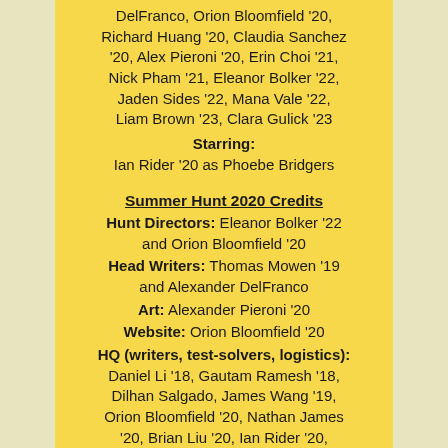DelFranco, Orion Bloomfield '20, Richard Huang '20, Claudia Sanchez '20, Alex Pieroni '20, Erin Choi '21, Nick Pham '21, Eleanor Bolker '22, Jaden Sides '22, Mana Vale '22, Liam Brown '23, Clara Gulick '23
Starring: Ian Rider '20 as Phoebe Bridgers
Summer Hunt 2020 Credits
Hunt Directors: Eleanor Bolker '22 and Orion Bloomfield '20
Head Writers: Thomas Mowen '19 and Alexander DelFranco
Art: Alexander Pieroni '20
Website: Orion Bloomfield '20
HQ (writers, test-solvers, logistics): Daniel Li '18, Gautam Ramesh '18, Dilhan Salgado, James Wang '19, Orion Bloomfield '20, Nathan James '20, Brian Liu '20, Ian Rider '20, Kevin Xu '20, Eleanor Bolker '22, Mana Vale '22